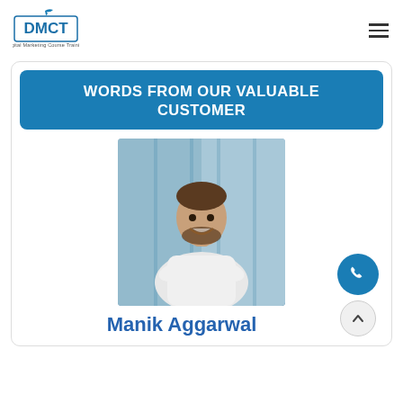DMCT Digital Marketing Course Training
WORDS FROM OUR VALUABLE CUSTOMER
[Figure (photo): Smiling man with beard wearing white shirt, arms crossed, standing in front of glass building]
Manik Aggarwal